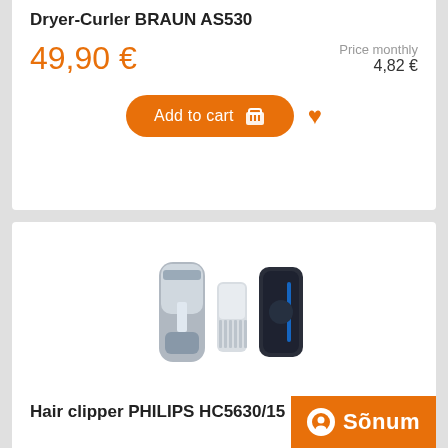Dryer-Curler BRAUN AS530
49,90 €
Price monthly
4,82 €
Add to cart
[Figure (photo): Hair clipper product set — Philips HC5630/15 with trimmer accessories and carrying case]
Hair clipper PHILIPS HC5630/15
[Figure (logo): Sõnum orange badge logo with white circle icon and text]